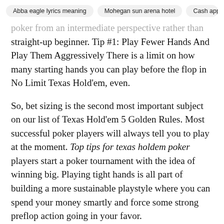Abba eagle lyrics meaning | Mohegan sun arena hotel | Cash app c
poker from an intermediate perspective rather than straight-up beginner. Tip #1: Play Fewer Hands And Play Them Aggressively There is a limit on how many starting hands you can play before the flop in No Limit Texas Hold'em, even.
So, bet sizing is the second most important subject on our list of Texas Hold'em 5 Golden Rules. Most successful poker players will always tell you to play at the moment. Top tips for texas holdem poker players start a poker tournament with the idea of winning big. Playing tight hands is all part of building a more sustainable playstyle where you can spend your money smartly and force some strong preflop action going in your favor.
Hopefully you will see what moves the players make when they don't have the best hand, and what moves they make